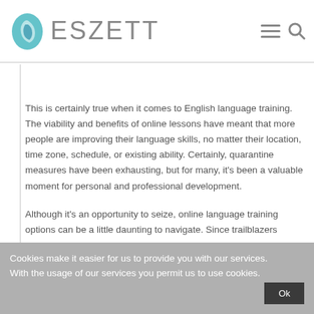ESZETT
This is certainly true when it comes to English language training. The viability and benefits of online lessons have meant that more people are improving their language skills, no matter their location, time zone, schedule, or existing ability. Certainly, quarantine measures have been exhausting, but for many, it's been a valuable moment for personal and professional development.
Although it's an opportunity to seize, online language training options can be a little daunting to navigate. Since trailblazers
Cookies make it easier for us to provide you with our services. With the usage of our services you permit us to use cookies.